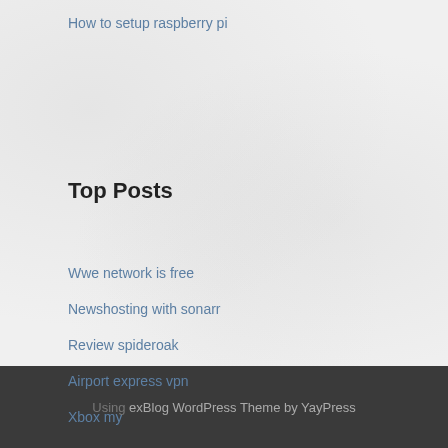How to setup raspberry pi
Top Posts
Wwe network is free
Newshosting with sonarr
Review spideroak
Airport express vpn
Xbox my
Using exBlog WordPress Theme by YayPress